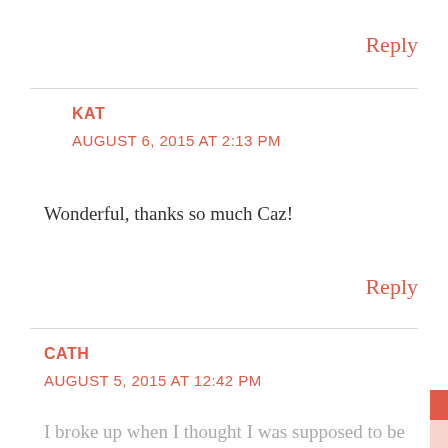Reply
KAT
AUGUST 6, 2015 AT 2:13 PM
Wonderful, thanks so much Caz!
Reply
CATH
AUGUST 5, 2015 AT 12:42 PM
I broke up when I thought I was supposed to be